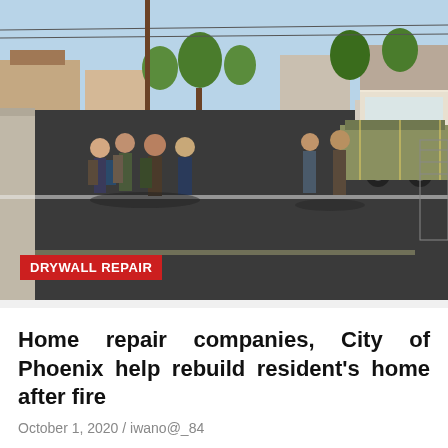[Figure (photo): Outdoor scene showing workers and people standing on a freshly paved road next to a large semi-truck/flatbed. Suburban neighborhood visible in background.]
DRYWALL REPAIR
Home repair companies, City of Phoenix help rebuild resident's home after fire
October 1, 2020 / iwano@_84
[Figure (photo): Partial image showing blue rope/netting texture on left side and large bold text 'NOW' on right side, with a red scroll-to-top button.]